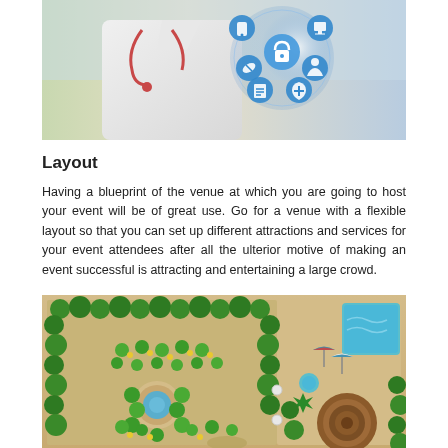[Figure (photo): Photo of a doctor in a white coat with stethoscope, with digital health security icons overlay showing lock, shield, pills, clipboard, and medical personnel icons in blue circular buttons]
Layout
Having a blueprint of the venue at which you are going to host your event will be of great use. Go for a venue with a flexible layout so that you can set up different attractions and services for your event attendees after all the ulterior motive of making an event successful is attracting and entertaining a large crowd.
[Figure (illustration): Bird's-eye view illustration of a venue/garden layout showing green trees, shrubs, pathways, a circular fountain/pool on the left side, a swimming pool in the upper right corner with beach umbrellas, and a large circular brown structure (amphitheater or gazebo) in the lower right, all set on a sandy/beige ground]